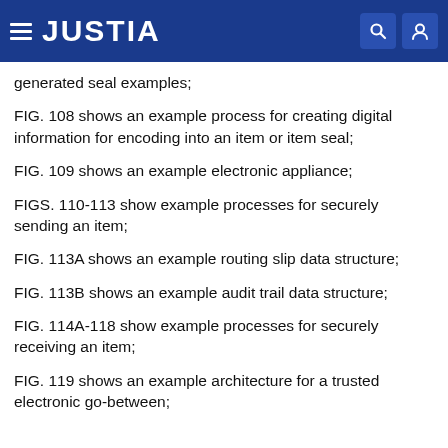JUSTIA
generated seal examples;
FIG. 108 shows an example process for creating digital information for encoding into an item or item seal;
FIG. 109 shows an example electronic appliance;
FIGS. 110-113 show example processes for securely sending an item;
FIG. 113A shows an example routing slip data structure;
FIG. 113B shows an example audit trail data structure;
FIG. 114A-118 show example processes for securely receiving an item;
FIG. 119 shows an example architecture for a trusted electronic go-between;